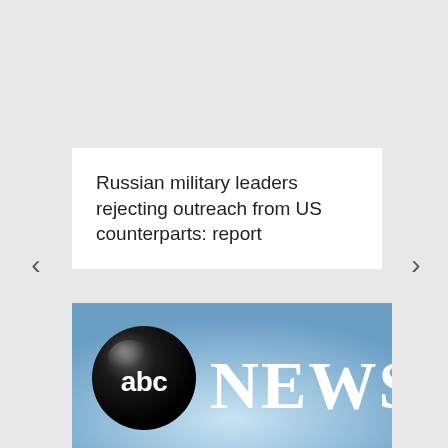Russian military leaders rejecting outreach from US counterparts: report
[Figure (logo): ABC News logo — black globe with white 'abc' text, next to large white 'NEWS' in serif font, on a blue gradient background]